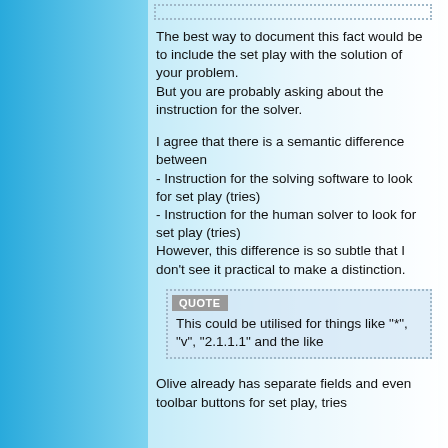The best way to document this fact would be to include the set play with the solution of your problem.
But you are probably asking about the instruction for the solver.
I agree that there is a semantic difference between
- Instruction for the solving software to look for set play (tries)
- Instruction for the human solver to look for set play (tries)
However, this difference is so subtle that I don't see it practical to make a distinction.
QUOTE
This could be utilised for things like "*", "v", "2.1.1.1" and the like
Olive already has separate fields and even toolbar buttons for set play, tries